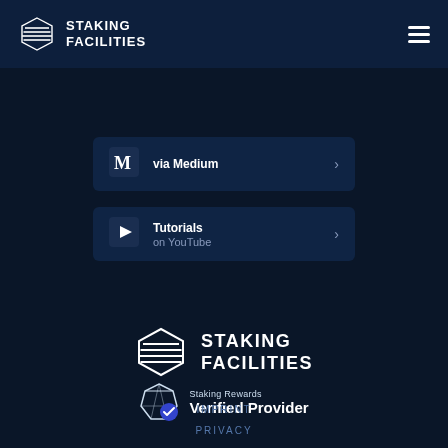STAKING FACILITIES
via Medium
Tutorials on YouTube
[Figure (logo): Staking Facilities logo with hexagon icon and text STAKING FACILITIES]
[Figure (logo): Staking Rewards Verified Provider badge]
IMPRINT
PRIVACY